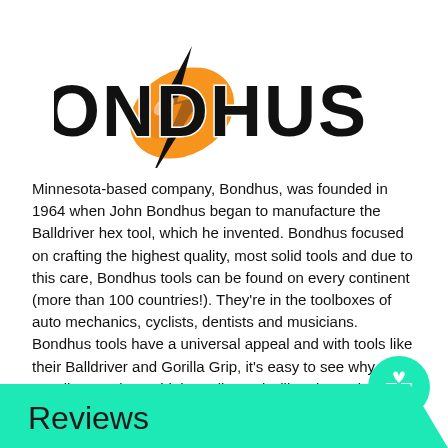[Figure (logo): Bondhus logo with orange swoosh/lightning bolt graphic and bold black 'BONDHUS' text]
Minnesota-based company, Bondhus, was founded in 1964 when John Bondhus began to manufacture the Balldriver hex tool, which he invented. Bondhus focused on crafting the highest quality, most solid tools and due to this care, Bondhus tools can be found on every continent (more than 100 countries!). They're in the toolboxes of auto mechanics, cyclists, dentists and musicians. Bondhus tools have a universal appeal and with tools like their Balldriver and Gorilla Grip, it's easy to see why. Bondhus Tools are high quality and will endure a lot of use. Bondhus Tools are a tool investment that you won't regret.
Reviews